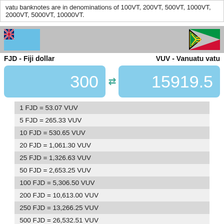vatu banknotes are in denominations of 100VT, 200VT, 500VT, 1000VT, 2000VT, 5000VT, 10000VT.
[Figure (infographic): Currency converter UI showing Fiji flag on left and Vanuatu flag on right with grey banner, currency labels FJD - Fiji dollar and VUV - Vanuatu vatu, blue input boxes showing 300 and 15919.5]
| 1 FJD = 53.07 VUV |
| 5 FJD = 265.33 VUV |
| 10 FJD = 530.65 VUV |
| 20 FJD = 1,061.30 VUV |
| 25 FJD = 1,326.63 VUV |
| 50 FJD = 2,653.25 VUV |
| 100 FJD = 5,306.50 VUV |
| 200 FJD = 10,613.00 VUV |
| 250 FJD = 13,266.25 VUV |
| 500 FJD = 26,532.51 VUV |
| 1,000 FJD = 53,065.01 VUV |
| 2,000 FJD = 106,130.03 VUV |
| 2,500 FJD = 132,662.53 VUV |